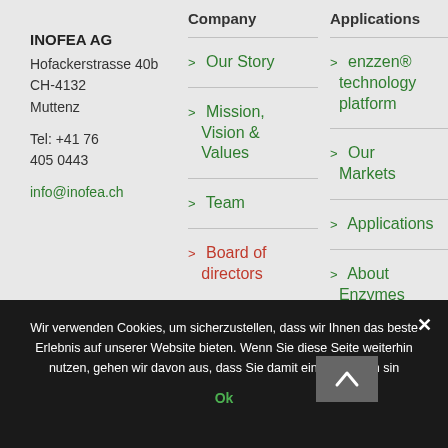INOFEA AG
Hofackerstrasse 40b
CH-4132
Muttenz
Tel: +41 76 405 0443
info@inofea.ch
Company
> Our Story
> Mission, Vision & Values
> Team
> Board of directors
Applications
> enzzen® technology platform
> Our Markets
> Applications
> About Enzymes
Wir verwenden Cookies, um sicherzustellen, dass wir Ihnen das beste Erlebnis auf unserer Website bieten. Wenn Sie diese Seite weiterhin nutzen, gehen wir davon aus, dass Sie damit einverstanden sin…
Ok